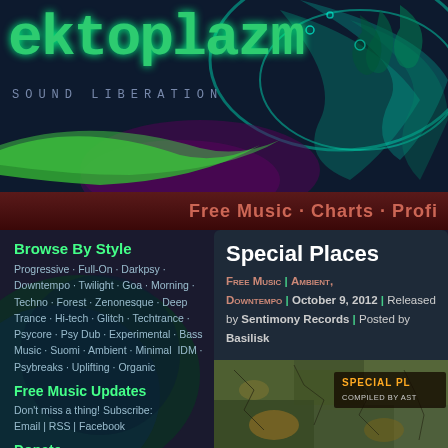[Figure (screenshot): Ektoplazm website header with fractal psychedelic background in teal and purple, featuring the Ektoplazm logo in green and 'sound liberation' tagline]
ektoplazm sound liberation
Free Music · Charts · Profi
Browse By Style
Progressive · Full-On · Darkpsy · Downtempo · Twilight · Goa · Morning · Techno · Forest · Zenonesque · Deep Trance · Hi-tech · Glitch · Techtrance · Psycore · Psy Dub · Experimental · Bass Music · Suomi · Ambient · Minimal · IDM · Psybreaks · Uplifting · Organic
Free Music Updates
Don't miss a thing! Subscribe: Email | RSS | Facebook
Donate
Ektoplazm is 100% supported by the community; please donate!
Special Places
Free Music | Ambient, Downtempo | October 9, 2012 | Released by Sentimony Records | Posted by Basilisk
[Figure (photo): Album art for Special Places - textured mossy/cracked ground in teal and amber tones with overlay text 'SPECIAL PL... COMPILED BY AST...']